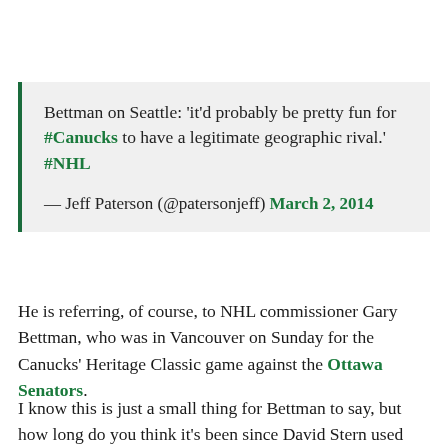Bettman on Seattle: 'it'd probably be pretty fun for #Canucks to have a legitimate geographic rival.' #NHL
— Jeff Paterson (@patersonjeff) March 2, 2014
He is referring, of course, to NHL commissioner Gary Bettman, who was in Vancouver on Sunday for the Canucks' Heritage Classic game against the Ottawa Senators.
I know this is just a small thing for Bettman to say, but how long do you think it's been since David Stern used the word Seattle in the same sentence as...